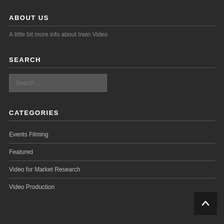ABOUT US
A little bit more info about Irwin Video
SEARCH
CATEGORIES
Events Filming
Featured
Video for Market Research
Video Production